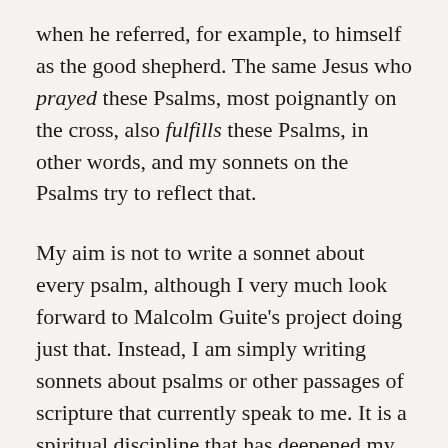when he referred, for example, to himself as the good shepherd. The same Jesus who prayed these Psalms, most poignantly on the cross, also fulfills these Psalms, in other words, and my sonnets on the Psalms try to reflect that.
My aim is not to write a sonnet about every psalm, although I very much look forward to Malcolm Guite's project doing just that. Instead, I am simply writing sonnets about psalms or other passages of scripture that currently speak to me. It is a spiritual discipline that has deepened my encounters with God's Word and blessed me in ways I did not anticipate. I encourage you to give it a try, if you